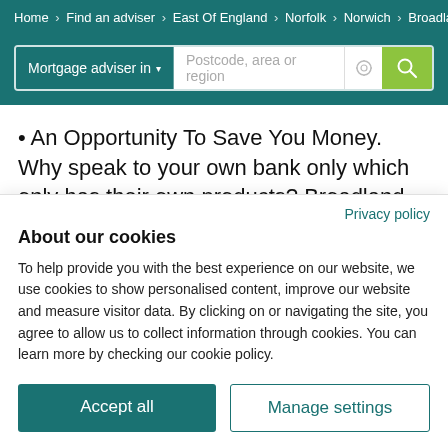Home > Find an adviser > East Of England > Norfolk > Norwich > Broadland
Mortgage adviser in ▾  Postcode, area or region
An Opportunity To Save You Money. Why speak to your own bank only which only has their own products? Broadland Consultants professional mortgage advisers can review the whole market for you and hopefully save you money on your mortgage costs
Privacy policy
About our cookies
To help provide you with the best experience on our website, we use cookies to show personalised content, improve our website and measure visitor data. By clicking on or navigating the site, you agree to allow us to collect information through cookies. You can learn more by checking our cookie policy.
Accept all    Manage settings